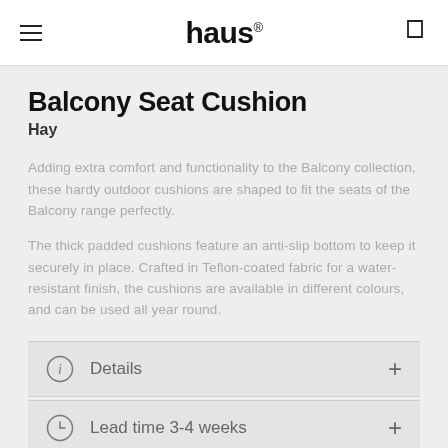haus®
Balcony Seat Cushion
Hay
Adding extra comfort and functionality to the Balcony collection, these hardy outdoor cushions are shaped to fit the seats of the Balcony range perfectly.
The thick padded cushions feature an anti-slip bottom to keep it securely in place. Crafted in Teflon-coated fabric for a water-resistant finish, the cushions are available in different colours, and can be used all year round.
Details
Lead time 3-4 weeks